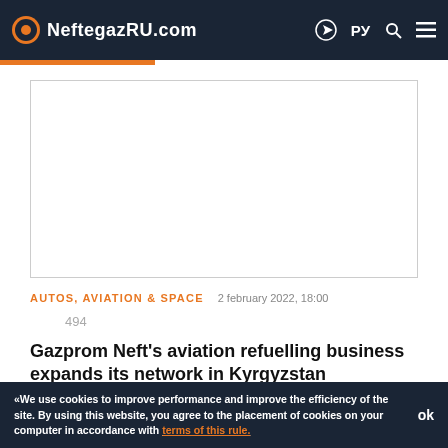NeftegazRU.com
[Figure (other): Advertisement placeholder box]
AUTOS, AVIATION & SPACE    2 february 2022, 18:00
494
Gazprom Neft's aviation refuelling business expands its network in Kyrgyzstan
«We use cookies to improve performance and improve the efficiency of the site. By using this website, you agree to the placement of cookies on your computer in accordance with terms of this rule.   ok